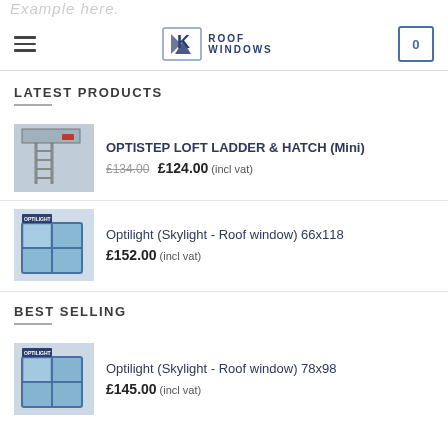AK Roof Windows
LATEST PRODUCTS
[Figure (photo): Product thumbnail: loft ladder and hatch installation photo]
OPTISTEP LOFT LADDER & HATCH (Mini)
£134.00  £124.00 (incl vat)
[Figure (photo): Product thumbnail: Optilight skylight roof window]
Optilight (Skylight - Roof window) 66x118
£152.00 (incl vat)
BEST SELLING
[Figure (photo): Product thumbnail: Optilight skylight roof window 78x98]
Optilight (Skylight - Roof window) 78x98
£145.00 (incl vat)